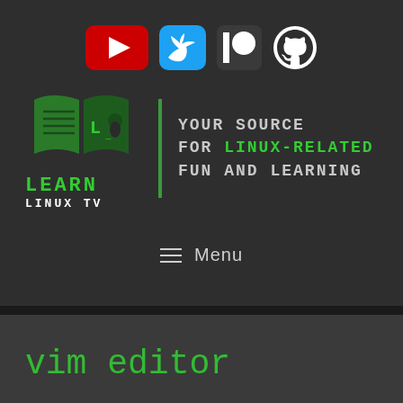[Figure (logo): Social media icons: YouTube (red rounded rectangle with play button), Twitter (blue rounded square with bird), Patreon (dark with circle logo), GitHub (white octocat logo)]
[Figure (logo): Learn Linux TV logo: green open book icon with Linux penguin, brand name LEARN LINUX TV in green and white monospace font, vertical green divider line, tagline YOUR SOURCE FOR LINUX-RELATED FUN AND LEARNING in white and green monospace bold text]
≡  Menu
vim editor